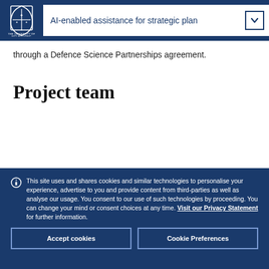AI-enabled assistance for strategic plan
through a Defence Science Partnerships agreement.
Project team
This site uses and shares cookies and similar technologies to personalise your experience, advertise to you and provide content from third-parties as well as analyse our usage. You consent to our use of such technologies by proceeding. You can change your mind or consent choices at any time. Visit our Privacy Statement for further information.
Accept cookies
Cookie Preferences